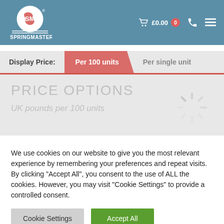[Figure (logo): Springmasters logo with circular emblem and company name in white on blue header]
Display Price: Per 100 units  Per single unit
PRICE OPTIONS
UK pounds per 100 units
We use cookies on our website to give you the most relevant experience by remembering your preferences and repeat visits. By clicking "Accept All", you consent to the use of ALL the cookies. However, you may visit "Cookie Settings" to provide a controlled consent.
Cookie Settings  Accept All